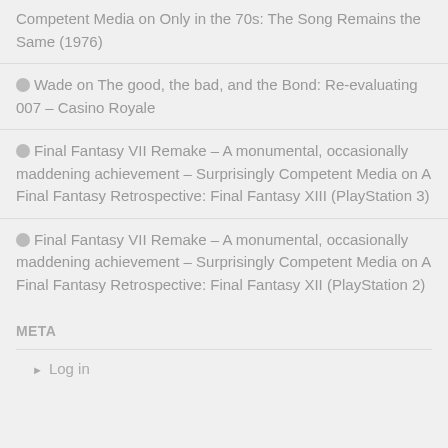Competent Media on Only in the 70s: The Song Remains the Same (1976)
Wade on The good, the bad, and the Bond: Re-evaluating 007 – Casino Royale
Final Fantasy VII Remake – A monumental, occasionally maddening achievement – Surprisingly Competent Media on A Final Fantasy Retrospective: Final Fantasy XIII (PlayStation 3)
Final Fantasy VII Remake – A monumental, occasionally maddening achievement – Surprisingly Competent Media on A Final Fantasy Retrospective: Final Fantasy XII (PlayStation 2)
META
Log in